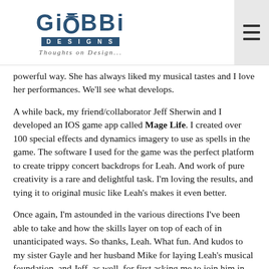GiOBBi DESIGNS — Thoughts on Design...
powerful way. She has always liked my musical tastes and I love her performances. We'll see what develops.
A while back, my friend/collaborator Jeff Sherwin and I developed an IOS game app called Mage Life. I created over 100 special effects and dynamics imagery to use as spells in the game. The software I used for the game was the perfect platform to create trippy concert backdrops for Leah. And work of pure creativity is a rare and delightful task. I'm loving the results, and tying it to original music like Leah's makes it even better.
Once again, I'm astounded in the various directions I've been able to take and how the skills layer on top of each of in unanticipated ways. So thanks, Leah. What fun. And kudos to my sister Gayle and her husband Mike for laying Leah's musical foundation, and Jeff, as well, for first asking me to join him in creating an online magical multi-player game experience, pushing me to explore the special effects side of Maya. It's a pleasure